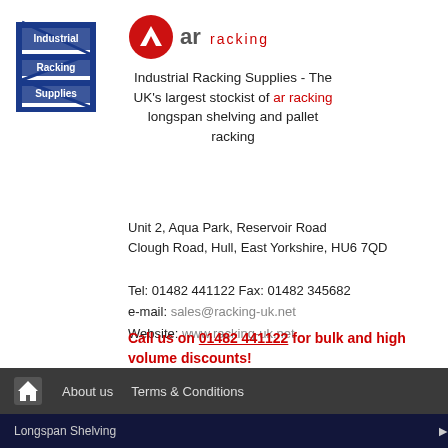[Figure (logo): Industrial Racking Supplies logo - blue racking shelves illustration with text 'Industrial Racking Supplies']
[Figure (logo): AR Racking logo - red triangle/arrow icon with 'ar racking' text in grey and red]
Industrial Racking Supplies - The UK's largest stockist of ar racking longspan shelving and pallet racking
Unit 2, Aqua Park, Reservoir Road Clough Road, Hull, East Yorkshire, HU6 7QD
Tel: 01482 441122 Fax: 01482 345682
e-mail: sales@racking-uk.net
Website: www.racking-uk.net
Call us on 01482 441122 for bulk and high volume discounts!
About us  Terms & Conditions
Longspan Shelving